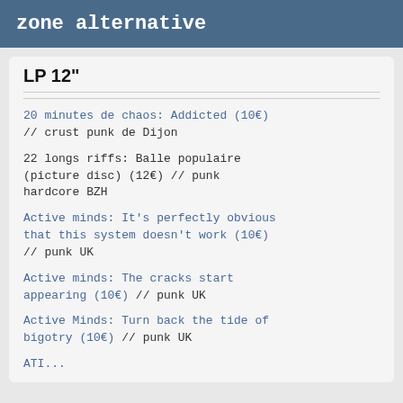zone alternative
LP 12"
20 minutes de chaos: Addicted (10€) // crust punk de Dijon
22 longs riffs: Balle populaire (picture disc) (12€) // punk hardcore BZH
Active minds: It's perfectly obvious that this system doesn't work (10€) // punk UK
Active minds: The cracks start appearing (10€) // punk UK
Active Minds: Turn back the tide of bigotry (10€) // punk UK
ATI... (truncated)